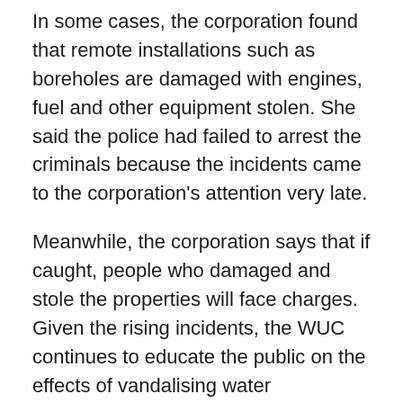In some cases, the corporation found that remote installations such as boreholes are damaged with engines, fuel and other equipment stolen. She said the police had failed to arrest the criminals because the incidents came to the corporation's attention very late.
Meanwhile, the corporation says that if caught, people who damaged and stole the properties will face charges. Given the rising incidents, the WUC continues to educate the public on the effects of vandalising water infrastructure.
“It also educates them on the dangers they expose themselves to in vandalising this infrastructure as some water pipes are highly pressurized and tampering with them may result in serious injuries to those involved,” Mmini warned.